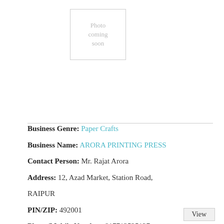[Figure (photo): Photo coming soon placeholder image]
Business Genre: Paper Crafts
Business Name: ARORA PRINTING PRESS
Contact Person: Mr. Rajat Arora
Address: 12, Azad Market, Station Road,
RAIPUR
PIN/ZIP: 492001
Phone/Mobile Number: 917712525127
Business Description:
Duplex board grey back, Kraft paper, corrugated boxes, cardboard boxes, paper note books Corrugated boxes, cardboard boxes, paper note booksn Paper Crafts